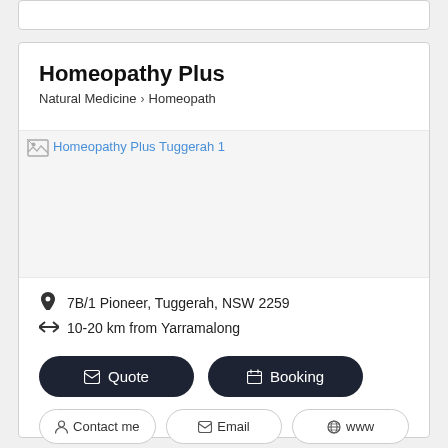Homeopathy Plus
Natural Medicine › Homeopath
[Figure (photo): Image placeholder for Homeopathy Plus Tuggerah 1 with broken image icon and link text]
7B/1 Pioneer, Tuggerah, NSW 2259
10-20 km from Yarramalong
✉ Quote
🗓 Booking
👤 Contact me
✉ Email
🌐 www